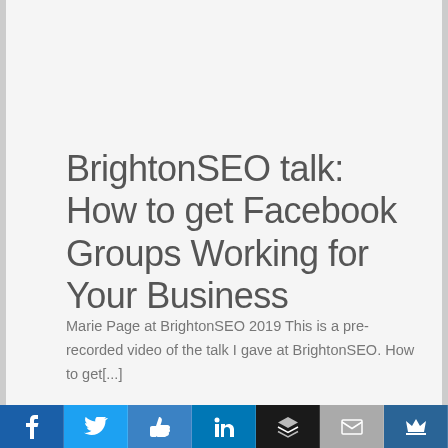BrightonSEO talk: How to get Facebook Groups Working for Your Business
Marie Page at BrightonSEO 2019 This is a pre-recorded video of the talk I gave at BrightonSEO. How to get[...]